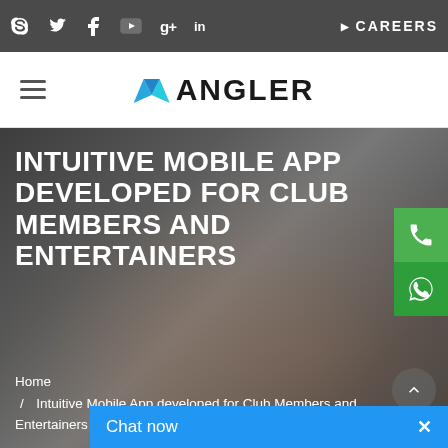Social icons bar with Skype, Twitter, Facebook, YouTube, Google+, LinkedIn | CAREERS
[Figure (logo): ANGLER logo with geometric triangular icon in blue, followed by bold text ANGLER]
INTUITIVE MOBILE APP DEVELOPED FOR CLUB MEMBERS AND ENTERTAINERS
Home / Intuitive Mobile App developed for Club Members and Entertainers
Chat now